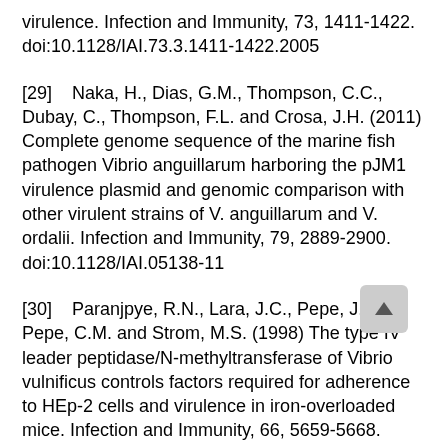virulence. Infection and Immunity, 73, 1411-1422. doi:10.1128/IAI.73.3.1411-1422.2005
[29]   Naka, H., Dias, G.M., Thompson, C.C., Dubay, C., Thompson, F.L. and Crosa, J.H. (2011) Complete genome sequence of the marine fish pathogen Vibrio anguillarum harboring the pJM1 virulence plasmid and genomic comparison with other virulent strains of V. anguillarum and V. ordalii. Infection and Immunity, 79, 2889-2900. doi:10.1128/IAI.05138-11
[30]   Paranjpye, R.N., Lara, J.C., Pepe, J.C., Pepe, C.M. and Strom, M.S. (1998) The type IV leader peptidase/N-methyltransferase of Vibrio vulnificus controls factors required for adherence to HEp-2 cells and virulence in iron-overloaded mice. Infection and Immunity, 66, 5659-5668.
[31]   Giltner, C.L., Habash, M. and Burrows, L.L. (2010) Pseudomonas aeruginosa minor pilins are